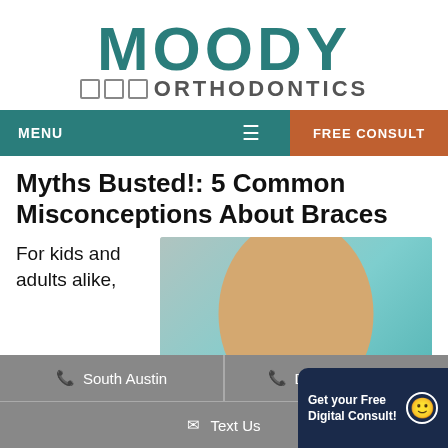[Figure (logo): Moody Orthodontics logo with teal MOODY text and gray ORTHODONTICS text with box icons]
MENU  ≡  FREE CONSULT
Myths Busted!: 5 Common Misconceptions About Braces
For kids and adults alike,
[Figure (photo): Close-up photo of a smiling woman with green eyes against a teal/gray background]
📞 South Austin   📞 Dripping Springs   ✉ Text Us   Get your Free Digital Consult!